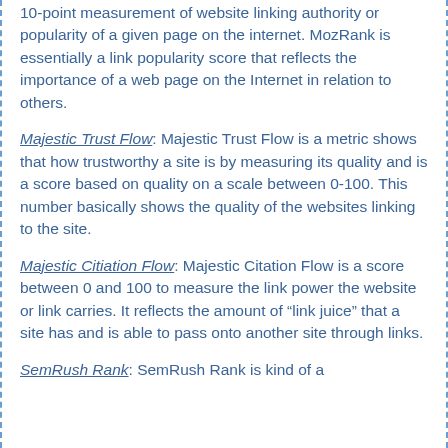10-point measurement of website linking authority or popularity of a given page on the internet. MozRank is essentially a link popularity score that reflects the importance of a web page on the Internet in relation to others.
Majestic Trust Flow: Majestic Trust Flow is a metric shows that how trustworthy a site is by measuring its quality and is a score based on quality on a scale between 0-100. This number basically shows the quality of the websites linking to the site.
Majestic Citiation Flow: Majestic Citation Flow is a score between 0 and 100 to measure the link power the website or link carries. It reflects the amount of “link juice” that a site has and is able to pass onto another site through links.
SemRush Rank: SemRush Rank is kind of a